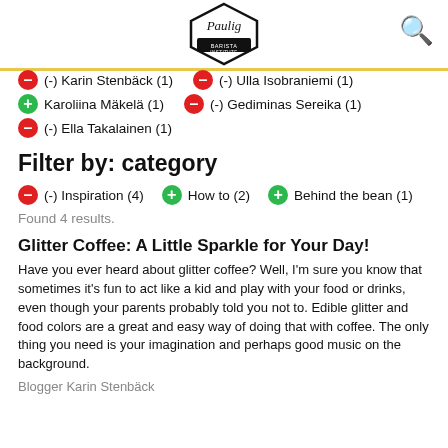Paulig Barista Institute logo and search icon
(-) Karin Stenbäck (1)   (-) Ulla Isobraniemi (1)
Karoliina Mäkelä (1)   (-) Gediminas Sereika (1)
(-) Ella Takalainen (1)
Filter by: category
(-) Inspiration (4)   How to (2)   Behind the bean (1)
Found 4 results.
Glitter Coffee: A Little Sparkle for Your Day!
Have you ever heard about glitter coffee? Well, I'm sure you know that sometimes it's fun to act like a kid and play with your food or drinks, even though your parents probably told you not to. Edible glitter and food colors are a great and easy way of doing that with coffee. The only thing you need is your imagination and perhaps good music on the background.
Blogger Karin Stenbäck